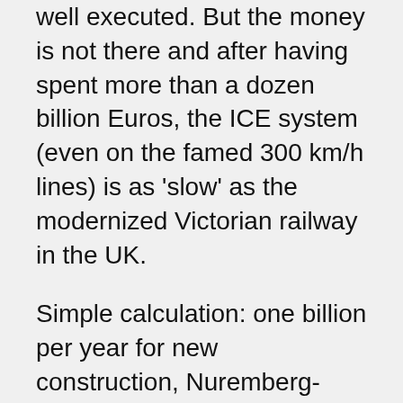well executed. But the money is not there and after having spent more than a dozen billion Euros, the ICE system (even on the famed 300 km/h lines) is as 'slow' as the modernized Victorian railway in the UK.
Simple calculation: one billion per year for new construction, Nuremberg-Erfurt-Leipzig will cost 5.7 billion, Wendlingen-Ulm about 4 billion (Federal contribution), plus a number of other ongoing projects. Which means the money for the next ten years is basically gone. No chance to start executing important big projects, unless someone says enough is enough. This is slow-motion ritual suicide. For what? So we can tell ourselves that we can still build big